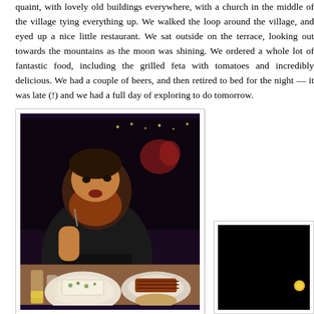quaint, with lovely old buildings everywhere, with a church in the middle of the village tying everything up. We walked the loop around the village, and eyed up a nice little restaurant. We sat outside on the terrace, looking out towards the mountains as the moon was shining. We ordered a whole lot of fantastic food, including the grilled feta with tomatoes and herbs — incredibly delicious. We had a couple of beers, and then retired to bed for the night — it was late (!) and we had a full day of exploring to do tomorrow.
[Figure (photo): A bearded man in a dark t-shirt with 'Mountains' graphic sitting at a restaurant table with multiple dishes including grilled feta with herbs, meat dishes, and drinks.]
[Figure (photo): A night sky photo showing a small bright moon or celestial object against a completely dark black background.]